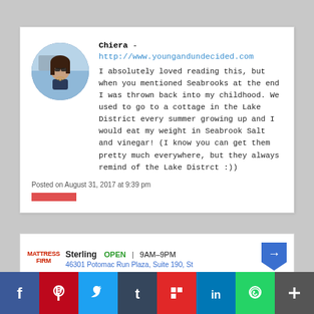Chiera - http://www.youngandundecided.com
I absolutely loved reading this, but when you mentioned Seabrooks at the end I was thrown back into my childhood. We used to go to a cottage in the Lake District every summer growing up and I would eat my weight in Seabrook Salt and vinegar! (I know you can get them pretty much everywhere, but they always remind of the Lake Distrct :))
Posted on August 31, 2017 at 9:39 pm
[Figure (screenshot): Mattress Firm ad strip showing Sterling location, OPEN 9AM-9PM, address 46301 Potomac Run Plaza, Suite 190, St]
[Figure (infographic): Social sharing bar with Facebook, Pinterest, Twitter, Tumblr, Flipboard, LinkedIn, WhatsApp, and Add buttons]